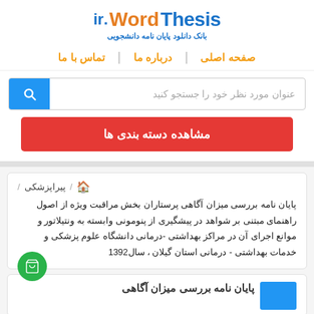[Figure (logo): ThesisWord.ir logo with Persian subtitle 'بانک دانلود پایان نامه دانشجویی']
صفحه اصلی  |  درباره ما  |  تماس با ما
عنوان مورد نظر خود را جستجو کنید
مشاهده دسته بندی ها
/ پیراپزشکی 🏠
پایان نامه بررسی میزان آگاهی پرستاران بخش مراقبت ویژه از اصول راهنمای مبتنی بر شواهد در پیشگیری از پنومونی وابسته به ونتیلاتور و موانع اجرای آن در مراکز بهداشتی -درمانی دانشگاه علوم پزشکی و خدمات بهداشتی - درمانی استان گیلان ، سال1392
پایان نامه بررسی میزان آگاهی